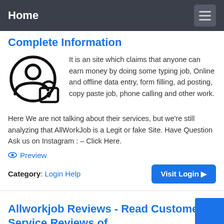Home
Complete Information
[Figure (illustration): User profile icon with a lock/security symbol, drawn in black line art on white background.]
It is an site which claims that anyone can earn money by doing some typing job, Online and offline data entry, form filling, ad posting, copy paste job, phone calling and other work. Here We are not talking about their services, but we're still analyzing that AllWorkJob is a Legit or fake Site. Have Question Ask us on Instagram : – Click Here.
Preview
Category: Login Help
Allworkjob Reviews - Read Customer Service Reviews of ...